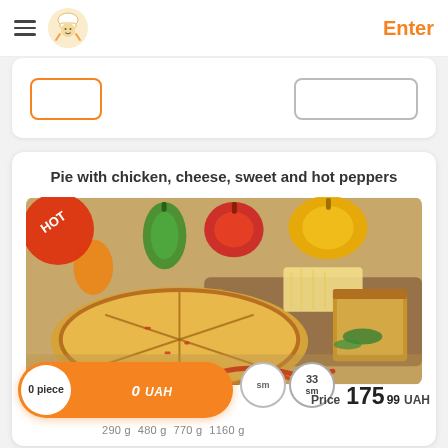Enter
Pie with chicken, cheese, sweet and hot peppers
[Figure (photo): Photo of a pie with chicken, cheese, sweet and hot peppers — a flat round pie sliced into portions on a wooden board, surrounded by colorful bell peppers (green, red, yellow), shredded cheese, herbs, and dried chili peppers. A 'HOT' badge is in the top-left corner.]
0 piece
0 UAH
33 sm
Price 175.99 UAH
290 g  480 g  770 g  1160 g